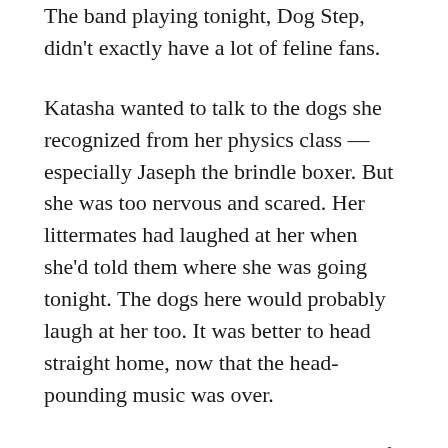The band playing tonight, Dog Step, didn't exactly have a lot of feline fans.
Katasha wanted to talk to the dogs she recognized from her physics class — especially Jaseph the brindle boxer. But she was too nervous and scared. Her littermates had laughed at her when she'd told them where she was going tonight. The dogs here would probably laugh at her too. It was better to head straight home, now that the head-pounding music was over.
Near the exit Katasha paused, the tip of her striped tail twitching. She scanned the room, a silent farewell, and held her blue-eyed gaze an extra second when she saw Jaseph. His jowly